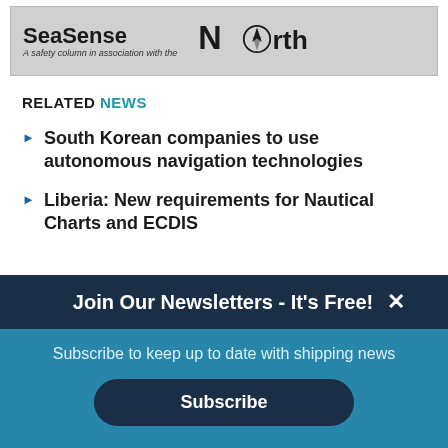[Figure (logo): SeaSense logo banner — 'SeaSense' in bold, 'A safety column in association with the' in italic, followed by 'North' logo with compass arrow]
RELATED NEWS
South Korean companies to use autonomous navigation technologies
Liberia: New requirements for Nautical Charts and ECDIS
Join Our Newsletters - It's Free!
Subscribe to keep up to date with shipping news
Subscribe